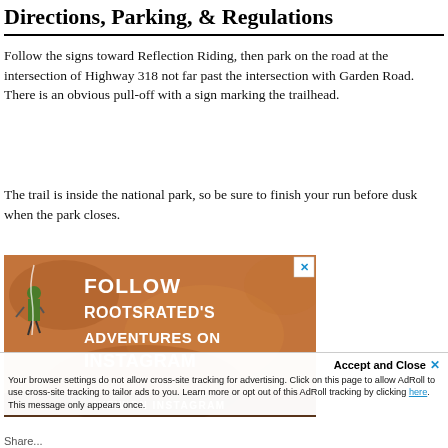Directions, Parking, & Regulations
Follow the signs toward Reflection Riding, then park on the road at the intersection of Highway 318 not far past the intersection with Garden Road. There is an obvious pull-off with a sign marking the trailhead.
The trail is inside the national park, so be sure to finish your run before dusk when the park closes.
[Figure (photo): Advertisement banner featuring a rock climber on an orange sandstone cliff face with text overlay reading 'FOLLOW ROOTSRATED'S ADVENTURES ON INSTAGRAM' with a close button (X) and a 'VIEW ON INSTAGRAM' bar at the bottom]
Accept and Close ✕
Your browser settings do not allow cross-site tracking for advertising. Click on this page to allow AdRoll to use cross-site tracking to tailor ads to you. Learn more or opt out of this AdRoll tracking by clicking here. This message only appears once.
Share...